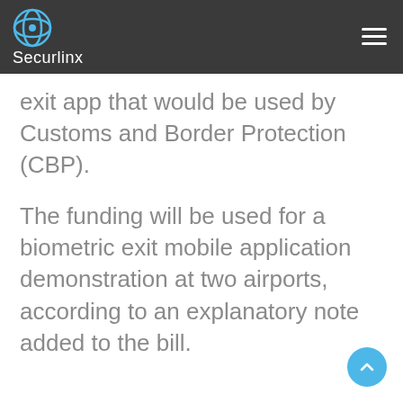Securlinx
exit app that would be used by Customs and Border Protection (CBP).
The funding will be used for a biometric exit mobile application demonstration at two airports, according to an explanatory note added to the bill.